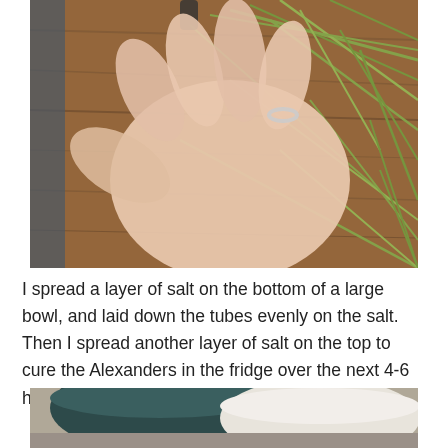[Figure (photo): A hand with a ring on one finger is reaching over a wooden surface covered with green plant stems (Alexanders). The hand is slightly blurred/in motion. Background shows wood grain and green stems/stalks.]
I spread a layer of salt on the bottom of a large bowl, and laid down the tubes evenly on the salt. Then I spread another layer of salt on the top to cure the Alexanders in the fridge over the next 4-6 hours.
[Figure (photo): A partial view of what appears to be dark and light bowls or containers on a surface, cropped at the bottom of the page.]